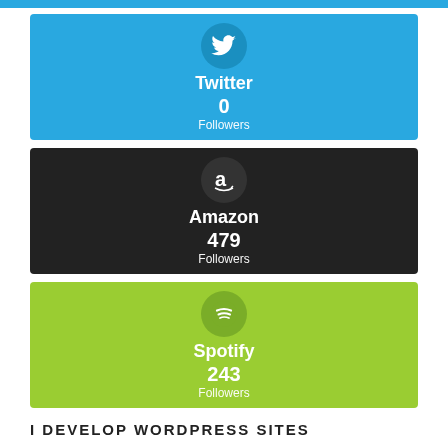[Figure (infographic): Twitter social card with bird icon, showing 0 Followers on blue background]
[Figure (infographic): Amazon social card with 'a' icon, showing 479 Followers on dark background]
[Figure (infographic): Spotify social card with Spotify icon, showing 243 Followers on green background]
I DEVELOP WORDPRESS SITES